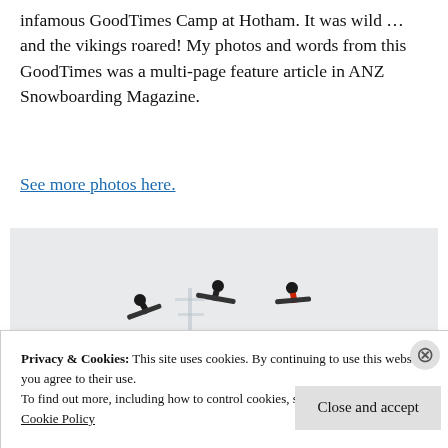infamous GoodTimes Camp at Hotham. It was wild … and the vikings roared! My photos and words from this GoodTimes was a multi-page feature article in ANZ Snowboarding Magazine.
See more photos here.
[Figure (photo): Three snowboarders in mid-air performing tricks above a snow ramp, with a snowy mountain background and a few spectators visible on a ridge.]
Privacy & Cookies: This site uses cookies. By continuing to use this website, you agree to their use.
To find out more, including how to control cookies, see here:
Cookie Policy
Close and accept